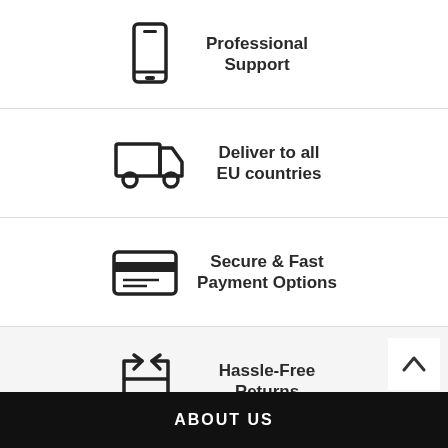[Figure (infographic): Smartphone icon with text Professional Support]
Professional Support
[Figure (infographic): Delivery truck icon with text Deliver to all EU countries]
Deliver to all EU countries
[Figure (infographic): Credit card icon with text Secure & Fast Payment Options]
Secure & Fast Payment Options
[Figure (infographic): Returns/exchange arrows icon with text Hassle-Free Returns]
Hassle-Free Returns
ABOUT US